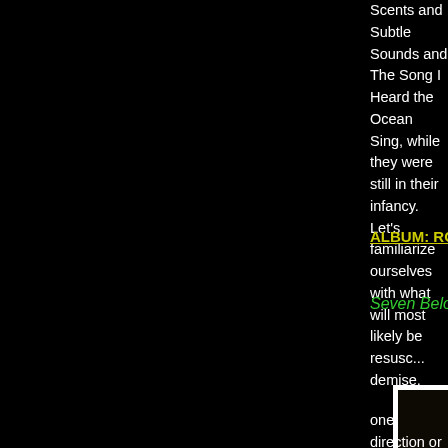Scents and Subtle Sounds and The Song I Heard the Ocean Sing, while they were still in their infancy. Let's familiarize ourselves with what will most likely be resuscitated after their demise.
11.2
ALBUM: ROUND ROOM
Seven Below
[Figure (photo): Concert photo showing performers on a dark stage with bright stage lighting/spotlights and colorful balloons (red and white) in the foreground. Caption: 12.1.03 Albany - photo: Jason Pinsky]
12.1.03 Albany - photo: Jason Pinsky
one direction or another. Sandwiched in Disease in Veg... shell at the Chicago show of the same winter, Seven Be...